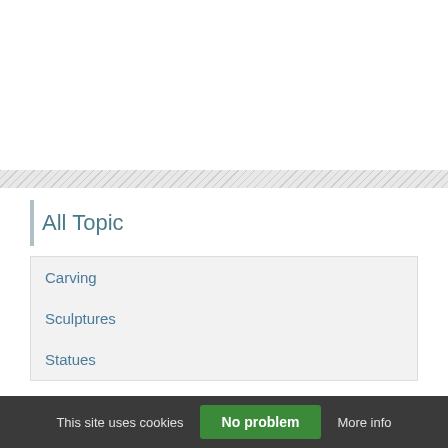All Topic
Carving
Sculptures
Statues
Inspiration Today
This site uses cookies  No problem  More info